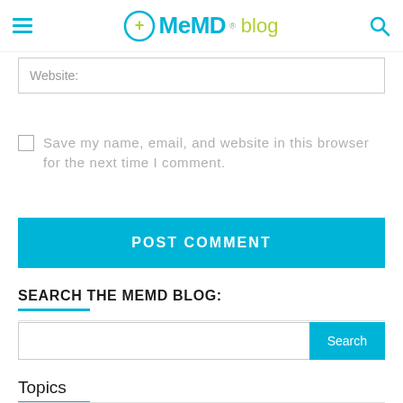MeMD blog
Website:
Save my name, email, and website in this browser for the next time I comment.
POST COMMENT
SEARCH THE MEMD BLOG:
Search
Topics